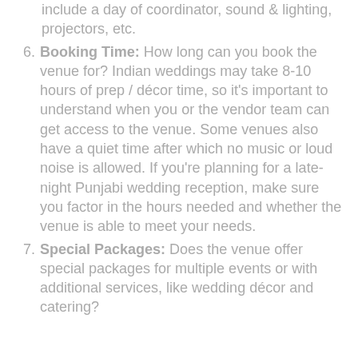include a day of coordinator, sound & lighting, projectors, etc.
6. Booking Time: How long can you book the venue for? Indian weddings may take 8-10 hours of prep / décor time, so it's important to understand when you or the vendor team can get access to the venue. Some venues also have a quiet time after which no music or loud noise is allowed. If you're planning for a late-night Punjabi wedding reception, make sure you factor in the hours needed and whether the venue is able to meet your needs.
7. Special Packages: Does the venue offer special packages for multiple events or with additional services, like wedding décor and catering?